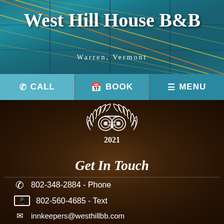West Hill House B&B
Warren, Vermont
[Figure (screenshot): Navigation bar with CALL, BOOK, MENU options on teal background]
[Figure (logo): TripAdvisor Travelers Choice 2021 badge/award logo]
Get In Touch
802-348-2884 - Phone
802-560-4685 - Text
innkeepers@westhillbb.com
1496 West Hill Road
05674
GPS: 44.124277, -72.882558
Accessibility